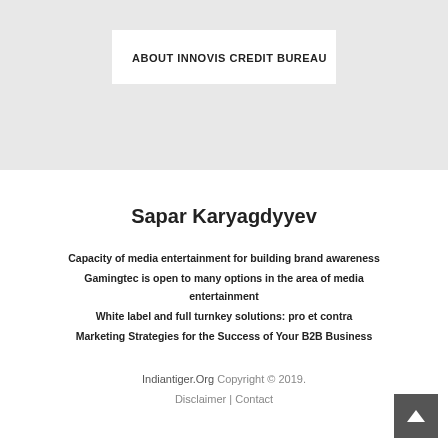ABOUT INNOVIS CREDIT BUREAU
Sapar Karyagdyyev
Capacity of media entertainment for building brand awareness
Gamingtec is open to many options in the area of media entertainment
White label and full turnkey solutions: pro et contra
Marketing Strategies for the Success of Your B2B Business
Indiantiger.Org Copyright © 2019. Disclaimer | Contact